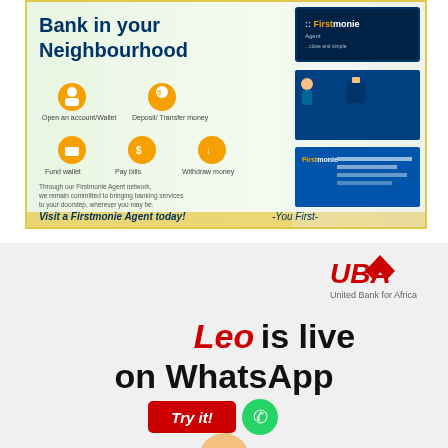[Figure (infographic): Firstmonie Agent advertisement banner showing 'Bank in your Neighbourhood' with icons for Open an account/Wallet, Deposit/Transfer money, Fund wallet, Pay bills, Withdraw money, and a call to visit a Firstmonie Agent today. Tagline: You First.]
[Figure (infographic): UBA United Bank for Africa advertisement showing 'Leo is live on WhatsApp' with a red Try it! button and WhatsApp icon.]